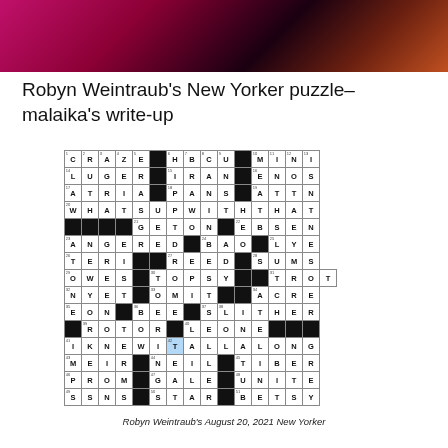[Figure (photo): Close-up photo of a person with pink/red hair against dark background, cropped to banner strip]
Robyn Weintraub's New Yorker puzzle– malaika's write-up
[Figure (other): Crossword puzzle grid filled in with letters, 15x15 grid with black squares. Answers include CRAZE, HBCU, MINI, LUGER, IRAN, ENOS, ATRIA, PANS, ATTN, WHATSUPWITHTHAT, GETON, EBSEN, ANGERED, BAO, LYE, TERI, REED, SUMS, OWES, TOPSY, TROT, NYET, OMIT, ACRE, EON, BEE, SLITHER, ROTOR, LEONE, IKNEWITALLALONG, MEIR, NEIL, TIBER, PROM, GALE, UNITE, SSNS, STAR, BETSY. One square (T in IKNEWITALLALONG) is highlighted in blue.]
Robyn Weintraub's August 20, 2021 New Yorker